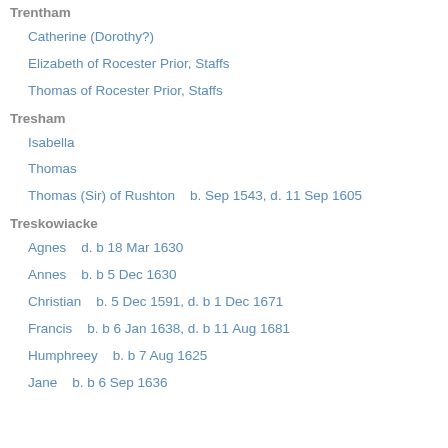Trentham
Catherine (Dorothy?)
Elizabeth of Rocester Prior, Staffs
Thomas of Rocester Prior, Staffs
Tresham
Isabella
Thomas
Thomas (Sir) of Rushton   b. Sep 1543, d. 11 Sep 1605
Treskowiacke
Agnes   d. b 18 Mar 1630
Annes   b. b 5 Dec 1630
Christian   b. 5 Dec 1591, d. b 1 Dec 1671
Francis   b. b 6 Jan 1638, d. b 11 Aug 1681
Humphreey   b. b 7 Aug 1625
Jane   b. b 6 Sep 1636